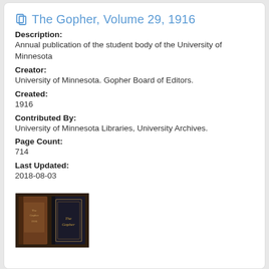The Gopher, Volume 29, 1916
Description:
Annual publication of the student body of the University of Minnesota
Creator:
University of Minnesota. Gopher Board of Editors.
Created:
1916
Contributed By:
University of Minnesota Libraries, University Archives.
Page Count:
714
Last Updated:
2018-08-03
[Figure (photo): Two book covers of The Gopher yearbook, one brown spine and one dark cover with gold text reading The Gopher]